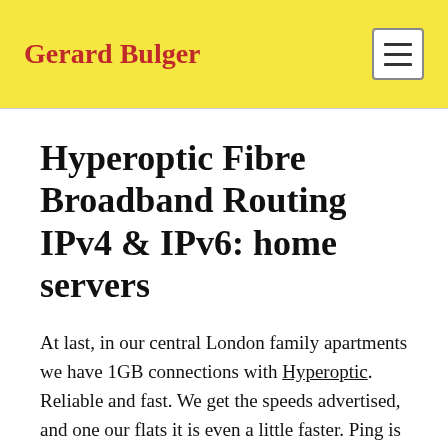Gerard Bulger
Hyperoptic Fibre Broadband Routing IPv4 & IPv6: home servers
At last, in our central London family apartments we have 1GB connections with Hyperoptic. Reliable and fast. We get the speeds advertised, and one our flats it is even a little faster. Ping is time 1ms. With such fast speeds, upload as fast as download, it is tempting to run servers at home and run a private cloud. The snag is